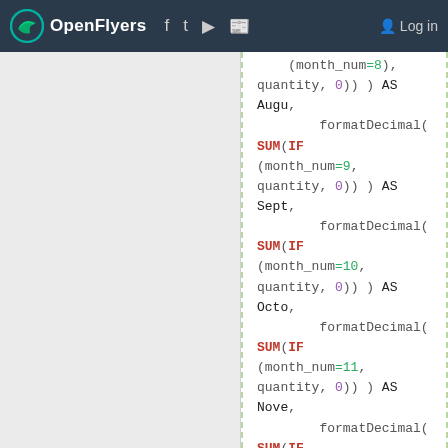OpenFlyers  Log in
SQL code snippet showing formatDecimal(SUM(IF(...))) AS Month aliases for August through December, plus SUM(quantity) AS Sum and FROM clause.